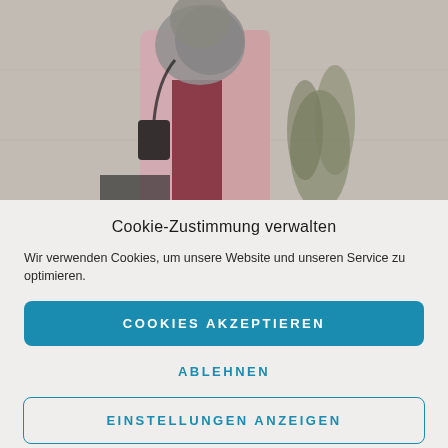[Figure (photo): Photo of a person wearing a pink coat and grey scarf, standing in front of a grey wall with a plant in the background]
Cookie-Zustimmung verwalten
Wir verwenden Cookies, um unsere Website und unseren Service zu optimieren.
COOKIES AKZEPTIEREN
ABLEHNEN
EINSTELLUNGEN ANZEIGEN